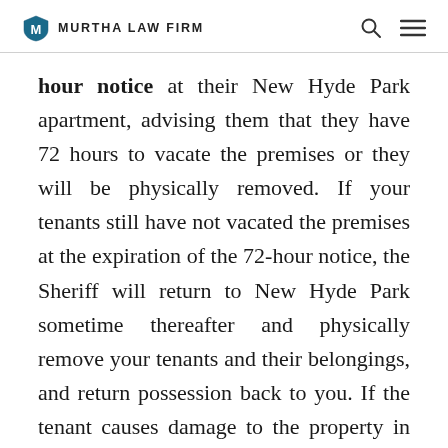MURTHA LAW FIRM
hour notice at their New Hyde Park apartment, advising them that they have 72 hours to vacate the premises or they will be physically removed. If your tenants still have not vacated the premises at the expiration of the 72-hour notice, the Sheriff will return to New Hyde Park sometime thereafter and physically remove your tenants and their belongings, and return possession back to you. If the tenant causes damage to the property in New Hyde Park in excess